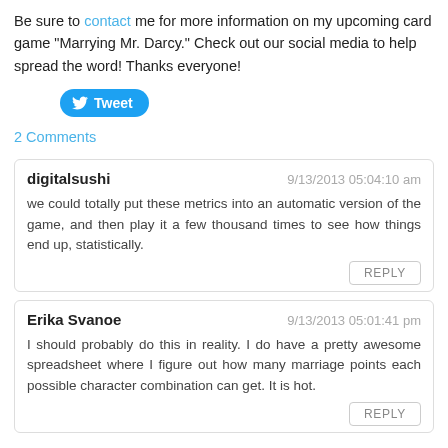Be sure to contact me for more information on my upcoming card game “Marrying Mr. Darcy.” Check out our social media to help spread the word! Thanks everyone!
[Figure (other): Twitter Tweet button (blue pill-shaped button with bird icon and 'Tweet' label)]
2 Comments
digitalsushi
9/13/2013 05:04:10 am
we could totally put these metrics into an automatic version of the game, and then play it a few thousand times to see how things end up, statistically.
REPLY
Erika Svanoe
9/13/2013 05:01:41 pm
I should probably do this in reality. I do have a pretty awesome spreadsheet where I figure out how many marriage points each possible character combination can get. It is hot.
REPLY